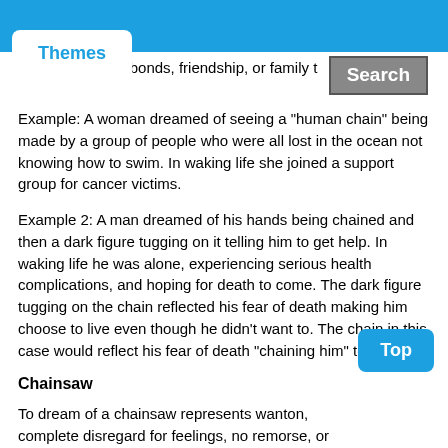Themes
…to get through bonds, friendship, or family t… Search
Example: A woman dreamed of seeing a "human chain" being made by a group of people who were all lost in the ocean not knowing how to swim. In waking life she joined a support group for cancer victims.
Example 2: A man dreamed of his hands being chained and then a dark figure tugging on it telling him to get help. In waking life he was alone, experiencing serious health complications, and hoping for death to come. The dark figure tugging on the chain reflected his fear of death making him choose to live even though he didn't want to. The chain in this case would reflect his fear of death "chaining him" to life.
Chainsaw
To dream of a chainsaw represents wanton, complete disregard for feelings, no remorse, or…